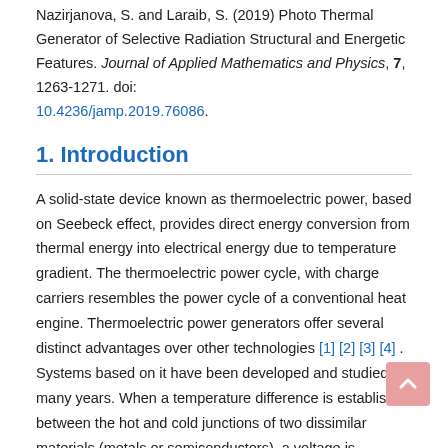Nazirjanova, S. and Laraib, S. (2019) Photo Thermal Generator of Selective Radiation Structural and Energetic Features. Journal of Applied Mathematics and Physics, 7, 1263-1271. doi: 10.4236/jamp.2019.76086.
1. Introduction
A solid-state device known as thermoelectric power, based on Seebeck effect, provides direct energy conversion from thermal energy into electrical energy due to temperature gradient. The thermoelectric power cycle, with charge carriers resembles the power cycle of a conventional heat engine. Thermoelectric power generators offer several distinct advantages over other technologies [1] [2] [3] [4] . Systems based on it have been developed and studied for many years. When a temperature difference is established between the hot and cold junctions of two dissimilar materials (metals or semiconductors), a voltage is